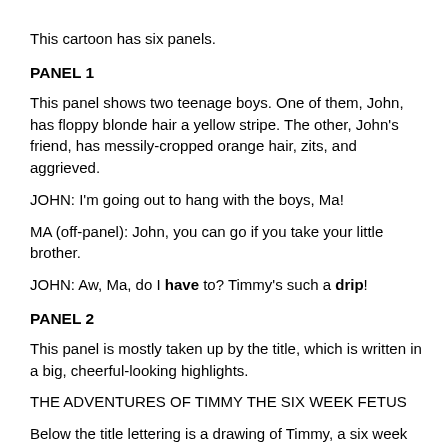This cartoon has six panels.
PANEL 1
This panel shows two teenage boys. One of them, John, has floppy blonde hair and a yellow stripe. The other, John's friend, has messily-cropped orange hair, zits, and looks aggrieved.
JOHN: I'm going out to hang with the boys, Ma!
MA (off-panel): John, you can go if you take your little brother.
JOHN: Aw, Ma, do I have to? Timmy's such a drip!
PANEL 2
This panel is mostly taken up by the title, which is written in a big, cheerful-looking highlights.
THE ADVENTURES OF TIMMY THE SIX WEEK FETUS
Below the title lettering is a drawing of Timmy, a six week fetus, which looks sort of a little cartoon smile. A little curly label pointing to Timmy says “1/4 inch.”